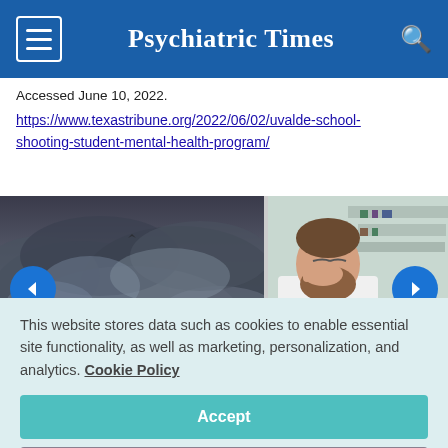Psychiatric Times
Accessed June 10, 2022.
https://www.texastribune.org/2022/06/02/uvalde-school-shooting-student-mental-health-program/
[Figure (photo): Carousel with two images: stormy dark cloudy sky on left, and a bearded male doctor in white coat pinching his nose in stress on right. Blue navigation arrows on each side.]
This website stores data such as cookies to enable essential site functionality, as well as marketing, personalization, and analytics. Cookie Policy
Accept
Deny